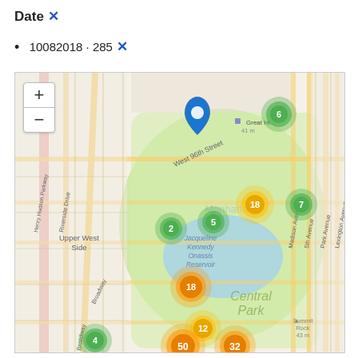Date ✕
10082018 · 285 ✕
[Figure (map): Interactive map of Central Park area in Manhattan, New York City. Shows clustered markers with numbers: 6 (green, upper right), 18 (yellow-green, middle right), 7 (green, far right), 2 (green, middle left), 5 (green, middle center), 18 (orange, lower center-left), 12 (yellow, lower center), 4 (green, bottom left), 50 (orange, bottom center), 32 (orange, bottom center-right). A blue location pin is visible near West 96th Street. Features Jacqueline Kennedy Onassis Reservoir and labels for Upper West Side, Central Park, Broadway, 5th Avenue, Madison Avenue, Park Avenue, Lexington Avenue, Henry Hudson Parkway, Riverside Drive. Zoom controls (+/-) visible at top left of map.]